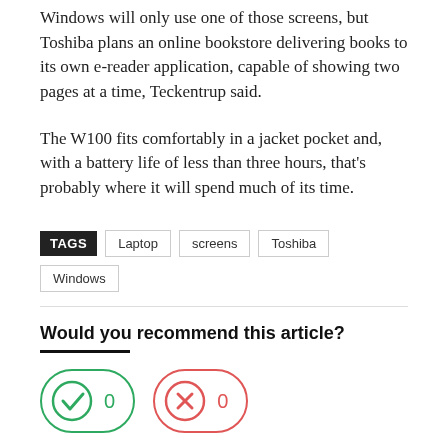Windows will only use one of those screens, but Toshiba plans an online bookstore delivering books to its own e-reader application, capable of showing two pages at a time, Teckentrup said.
The W100 fits comfortably in a jacket pocket and, with a battery life of less than three hours, that’s probably where it will spend much of its time.
TAGS  Laptop  screens  Toshiba  Windows
Would you recommend this article?
[Figure (infographic): Two voting buttons: a green rounded rectangle with a checkmark icon and count '0', and a red rounded rectangle with an X icon and count '0'.]